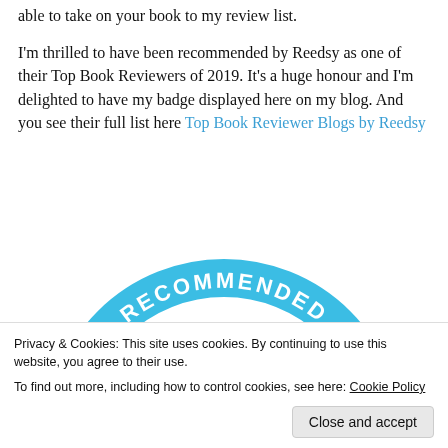able to take on your book to my review list.
I'm thrilled to have been recommended by Reedsy as one of their Top Book Reviewers of 2019. It's a huge honour and I'm delighted to have my badge displayed here on my blog. And you see their full list here Top Book Reviewer Blogs by Reedsy
[Figure (logo): Circular badge in blue with text 'RECOMMENDED TOP' visible at the top arc, partially cropped]
Privacy & Cookies: This site uses cookies. By continuing to use this website, you agree to their use.
To find out more, including how to control cookies, see here: Cookie Policy